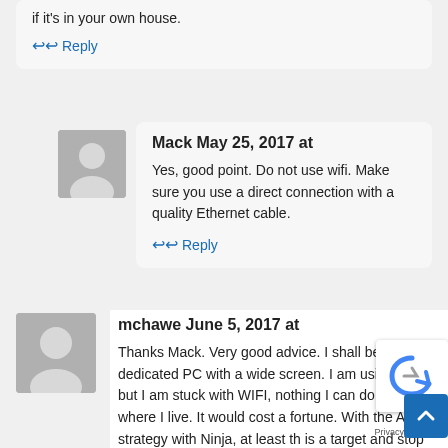if it's in your own house.
Reply
Mack May 25, 2017 at
Yes, good point. Do not use wifi. Make sure you use a direct connection with a quality Ethernet cable.
Reply
mchawe June 5, 2017 at
Thanks Mack. Very good advice. I shall be getting a dedicated PC with a wide screen. I am using Ninja, but I am stuck with WIFI, nothing I can do about it where I live. It would cost a fortune. With the ATM strategy with Ninja, at least the is a target and stop as soon as the trade is entered, so if the internet goes down it should not be a total disaster.